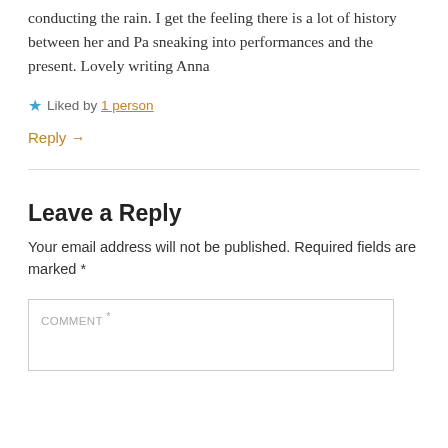conducting the rain. I get the feeling there is a lot of history between her and Pa sneaking into performances and the present. Lovely writing Anna
Liked by 1 person
Reply →
Leave a Reply
Your email address will not be published. Required fields are marked *
COMMENT *